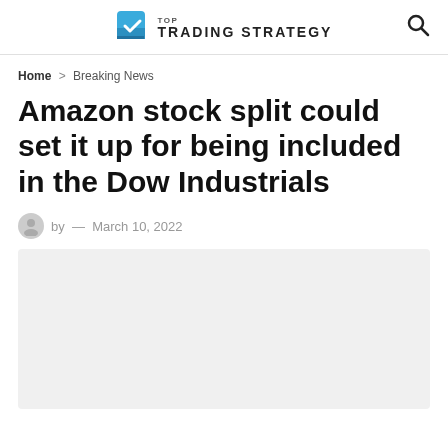TOP TRADING STRATEGY
Home > Breaking News
Amazon stock split could set it up for being included in the Dow Industrials
by — March 10, 2022
[Figure (photo): Placeholder image area (gray background)]